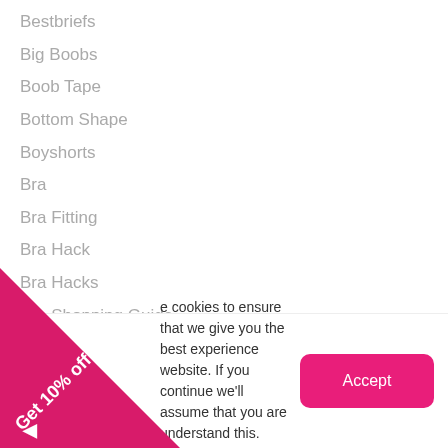Bestbriefs
Big Boobs
Boob Tape
Bottom Shape
Boyshorts
Bra
Bra Fitting
Bra Hack
Bra Hacks
Bra Shopping Guide
Bra Tips
Bra Types
Brahack
Braless
Bralette
Bras
Bras For Moms
e cookies to ensure that we give you the best experience website. If you continue we'll assume that you are understand this. Learn more
[Figure (other): Pink triangular promotional badge with text 'Get 10% off' and a left-pointing arrow]